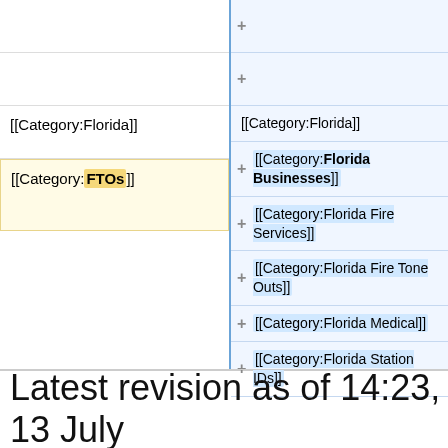| Old | New |
| --- | --- |
|  |  |
|  |  |
| [[Category:Florida]] | [[Category:Florida]] |
| [[Category:FTOs]] | [[Category:Florida Businesses]] |
|  | [[Category:Florida Fire Services]] |
|  | [[Category:Florida Fire Tone Outs]] |
|  | [[Category:Florida Medical]] |
|  | [[Category:Florida Station IDs]] |
Latest revision as of 14:23, 13 July